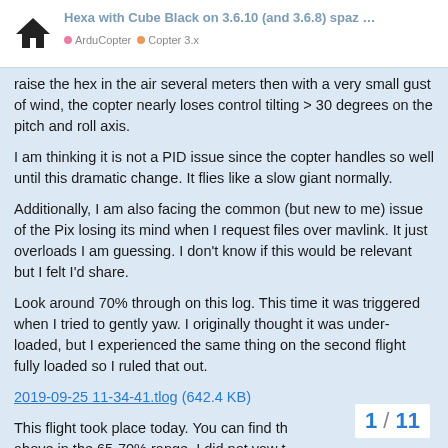Hexa with Cube Black on 3.6.10 (and 3.6.8) spaz … | ArduCopter | Copter 3.x
raise the hex in the air several meters then with a very small gust of wind, the copter nearly loses control tilting > 30 degrees on the pitch and roll axis.
I am thinking it is not a PID issue since the copter handles so well until this dramatic change. It flies like a slow giant normally.
Additionally, I am also facing the common (but new to me) issue of the Pix losing its mind when I request files over mavlink. It just overloads I am guessing. I don't know if this would be relevant but I felt I'd share.
Look around 70% through on this log. This time it was triggered when I tried to gently yaw. I originally thought it was under-loaded, but I experienced the same thing on the second flight fully loaded so I ruled that out.
2019-09-25 11-34-41.tlog (642.4 KB)
This flight took place today. You can find th above in the 65-70% range. I did not yaw t
1 / 11